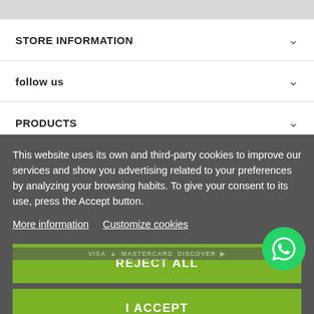STORE INFORMATION
follow us
PRODUCTS
OUR COMPANY
This website uses its own and third-party cookies to improve our services and show you advertising related to your preferences by analyzing your browsing habits. To give your consent to its use, press the Accept button.
More information   Customize cookies
REJECT ALL
I ACCEPT